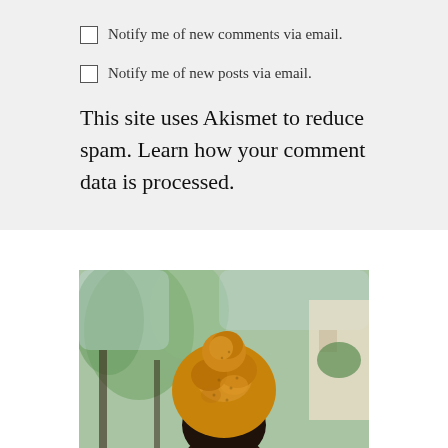Notify me of new comments via email.
Notify me of new posts via email.
This site uses Akismet to reduce spam. Learn how your comment data is processed.
[Figure (photo): Close-up photo of a person wearing a mustard yellow knit head wrap/turban, photographed from behind/above. Background shows blurred trees and a building.]